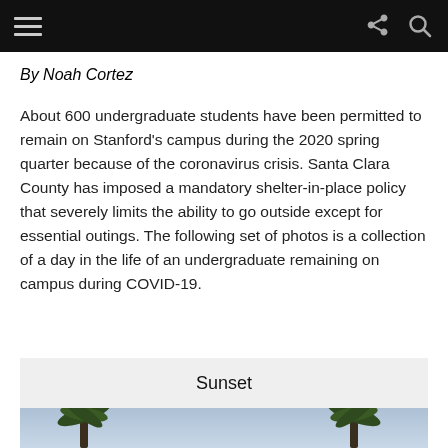By Noah Cortez
About 600 undergraduate students have been permitted to remain on Stanford's campus during the 2020 spring quarter because of the coronavirus crisis. Santa Clara County has imposed a mandatory shelter-in-place policy that severely limits the ability to go outside except for essential outings. The following set of photos is a collection of a day in the life of an undergraduate remaining on campus during COVID-19.
Sunset
[Figure (photo): Partial view of palm trees against a blue sky]